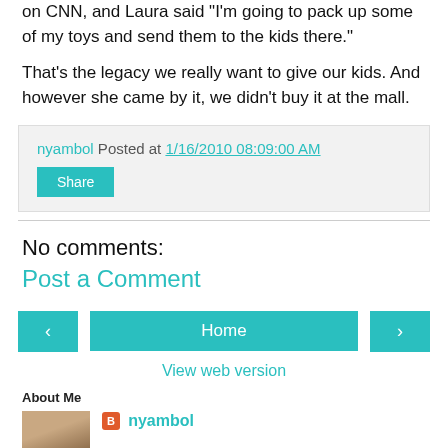on CNN, and Laura said "I'm going to pack up some of my toys and send them to the kids there."
That's the legacy we really want to give our kids. And however she came by it, we didn't buy it at the mall.
nyambol Posted at 1/16/2010 08:09:00 AM
Share
No comments:
Post a Comment
< Home >
View web version
About Me
nyambol